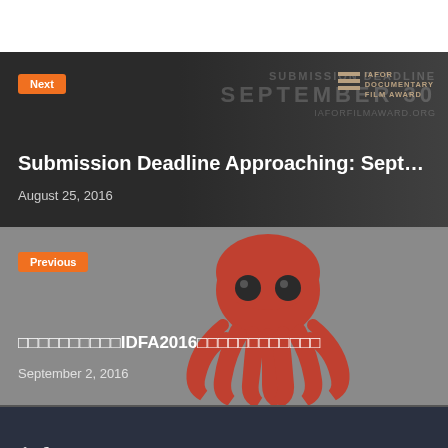[Figure (screenshot): Top white strip above the content panels]
[Figure (screenshot): Next panel with dark background showing IAFOR Documentary Film Award submission deadline article link. Orange 'Next' badge, title 'Submission Deadline Approaching: Septemb...', date 'August 25, 2016', with IAFOR logo and background text 'SUBMISSION DEADLINE SEPTEMBER 30 IAFORFILMAWARD.ORG']
[Figure (screenshot): Previous panel with grey background and octopus illustration. Orange 'Previous' badge, title with Japanese/Asian characters and IDFA2016, date 'September 2, 2016']
[Figure (screenshot): Dark navy footer with 'iafor' wordmark in serif font]